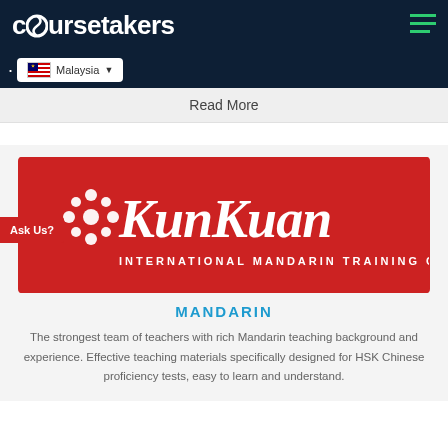coursetakers
Malaysia
Read More
[Figure (logo): KunKuan International Mandarin Training Centre logo — white text and decorative motif on red background]
Ask Us?
MANDARIN
The strongest team of teachers with rich Mandarin teaching background and experience. Effective teaching materials specifically designed for HSK Chinese proficiency tests, easy to learn and understand.